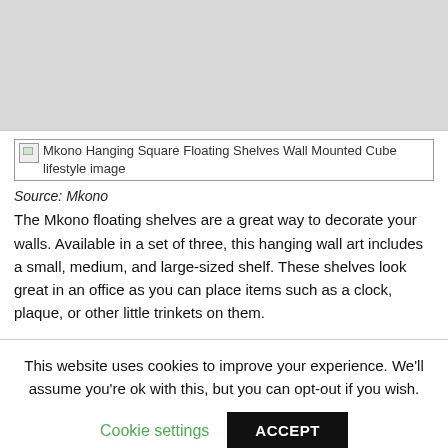[Figure (photo): Gray placeholder area for product image at top of page]
[Figure (photo): Broken image placeholder: Mkono Hanging Square Floating Shelves Wall Mounted Cube lifestyle image]
Source: Mkono
The Mkono floating shelves are a great way to decorate your walls. Available in a set of three, this hanging wall art includes a small, medium, and large-sized shelf. These shelves look great in an office as you can place items such as a clock, plaque, or other little trinkets on them.
This website uses cookies to improve your experience. We'll assume you're ok with this, but you can opt-out if you wish.
Cookie settings  ACCEPT